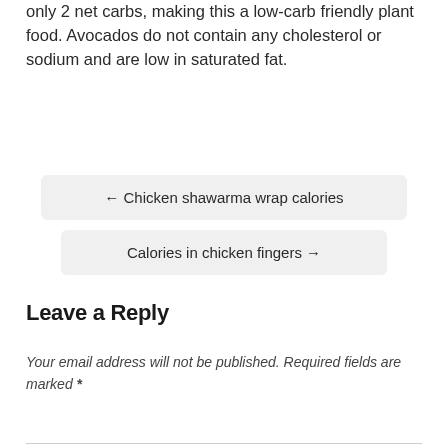only 2 net carbs, making this a low-carb friendly plant food. Avocados do not contain any cholesterol or sodium and are low in saturated fat.
← Chicken shawarma wrap calories
Calories in chicken fingers →
Leave a Reply
Your email address will not be published. Required fields are marked *